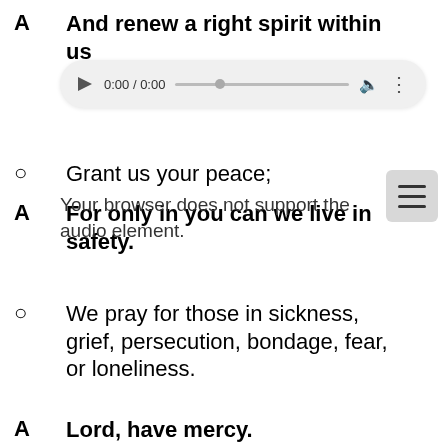A  And renew a right spirit within us
[Figure (screenshot): Audio player widget showing 0:00 / 0:00 with play button, progress bar, volume icon, and options dots]
O  Grant us your peace;
Your browser does not support the audio element.
A  For only in you can we live in safety.
O  We pray for those in sickness, grief, persecution, bondage, fear, or loneliness.
A  Lord, have mercy.